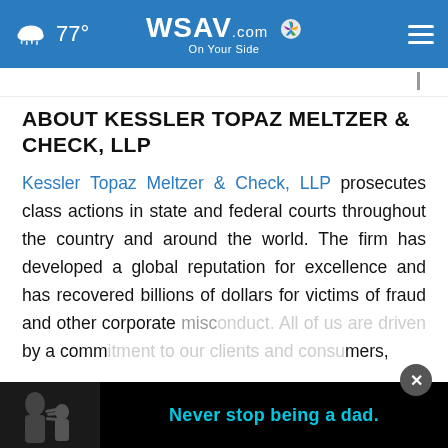WSAV.com On Your Side — 77° weather
ABOUT KESSLER TOPAZ MELTZER & CHECK, LLP
Kessler Topaz Meltzer & Check, LLP prosecutes class actions in state and federal courts throughout the country and around the world. The firm has developed a global reputation for excellence and has recovered billions of dollars for victims of fraud and other corporate misconduct. All of us are driven by a commitment to our clients and consumers,
[Figure (screenshot): Advertisement overlay at the bottom showing a black and white photo of a father and child with text 'Never stop being a dad.' in cyan, with a close (X) button]